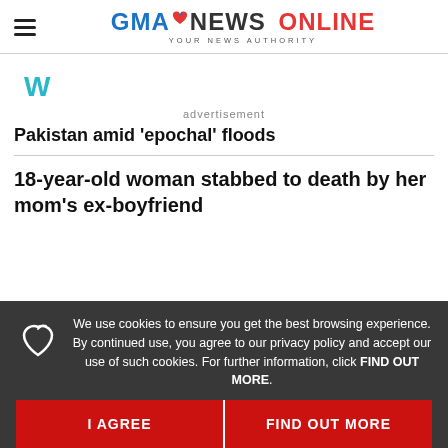GMA NEWS ONLINE - YOUR NEWS AUTHORITY
[Figure (logo): Weather widget icon (W with teal color)]
advertisement
Pakistan amid ‘epochal’ floods
18-year-old woman stabbed to death by her mom’s ex-boyfriend
We use cookies to ensure you get the best browsing experience. By continued use, you agree to our privacy policy and accept our use of such cookies. For further information, click FIND OUT MORE.
I AGREE
FIND OUT MORE